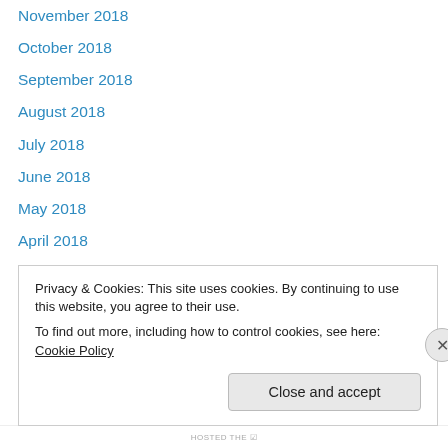November 2018
October 2018
September 2018
August 2018
July 2018
June 2018
May 2018
April 2018
November 2017
October 2017
September 2017
August 2017
July 2017
Privacy & Cookies: This site uses cookies. By continuing to use this website, you agree to their use.
To find out more, including how to control cookies, see here: Cookie Policy
Close and accept